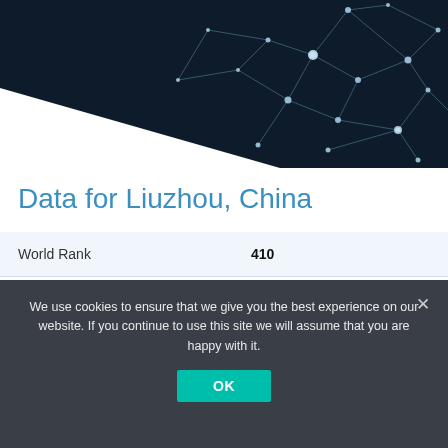[Figure (illustration): Dark navy tech hero banner with network/geometric wireframe graphic in the upper right corner and a diagonal white slash in the lower left]
Data for Liuzhou, China
| World Rank | 410 |
| Country Rank | 63 |
| Administrative Region | Guangxi |
| Country | China |
We use cookies to ensure that we give you the best experience on our website. If you continue to use this site we will assume that you are happy with it.